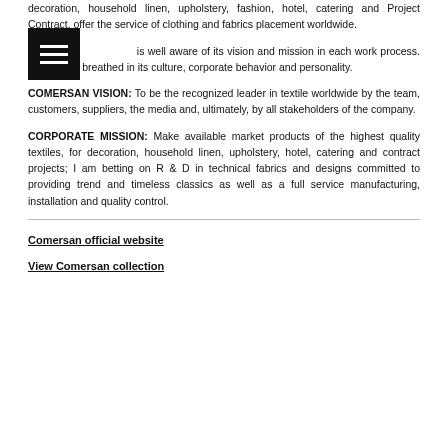decoration, household linen, upholstery, fashion, hotel, catering and Project Contract, offer the service of clothing and fabrics placement worldwide.
[Figure (other): Black square menu icon with three horizontal white lines (hamburger menu icon)]
C... is well aware of its vision and mission in each work process. And so it is breathed in its culture, corporate behavior and personality.
COMERSAN VISION: To be the recognized leader in textile worldwide by the team, customers, suppliers, the media and, ultimately, by all stakeholders of the company.
CORPORATE MISSION: Make available market products of the highest quality textiles, for decoration, household linen, upholstery, hotel, catering and contract projects; I am betting on R & D in technical fabrics and designs committed to providing trend and timeless classics as well as a full service manufacturing, installation and quality control.
Comersan official website
View Comersan collection